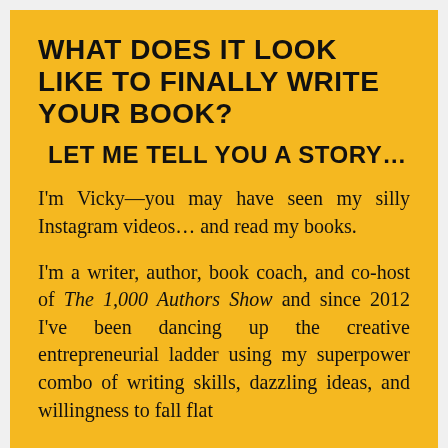WHAT DOES IT LOOK LIKE TO FINALLY WRITE YOUR BOOK?
LET ME TELL YOU A STORY…
I'm Vicky—you may have seen my silly Instagram videos… and read my books.
I'm a writer, author, book coach, and co-host of The 1,000 Authors Show and since 2012 I've been dancing up the creative entrepreneurial ladder using my superpower combo of writing skills, dazzling ideas, and willingness to fall flat